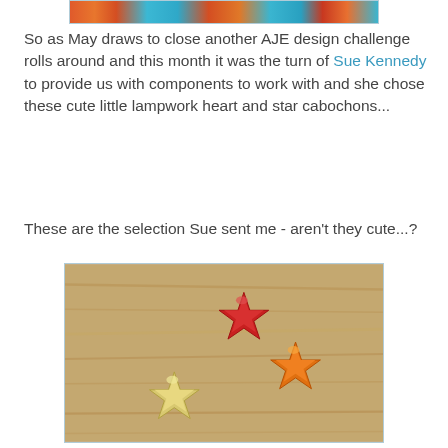[Figure (photo): Top cropped photo showing colorful lampwork beads or cabochons in red, orange, yellow, and blue colors]
So as May draws to close another AJE design challenge rolls around and this month it was the turn of Sue Kennedy to provide us with components to work with and she chose these cute little lampwork heart and star cabochons...
These are the selection Sue sent me - aren't they cute...?
[Figure (photo): Photo of three lampwork star-shaped cabochons on a wooden surface: one red star at top center, one orange star at right, and one pale yellow star at bottom left]